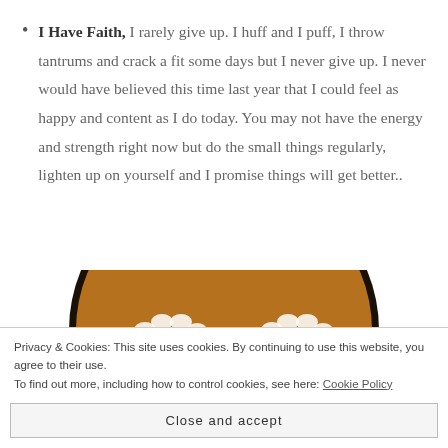I Have Faith, I rarely give up. I huff and I puff, I throw tantrums and crack a fit some days but I never give up. I never would have believed this time last year that I could feel as happy and content as I do today. You may not have the energy and strength right now but do the small things regularly, lighten up on yourself and I promise things will get better..
[Figure (photo): A circular brown leather or ceramic item with two white paw print designs and the text 'Lord help me' in white letters at the bottom]
Privacy & Cookies: This site uses cookies. By continuing to use this website, you agree to their use. To find out more, including how to control cookies, see here: Cookie Policy
Close and accept